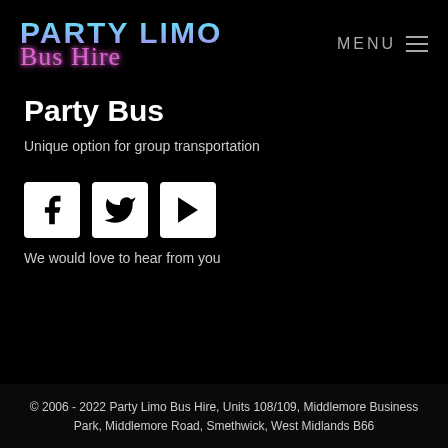[Figure (logo): Party Limo Bus Hire logo with cyan/purple gradient text for 'PARTY LIMO' and pink cursive neon text for 'Bus Hire']
Party Bus
Unique option for group transportation
[Figure (illustration): Social media icons: Facebook (f), Twitter (bird), YouTube (play button) — white icons on white square backgrounds]
We would love to hear from you
© 2006 - 2022 Party Limo Bus Hire, Units 108/109, Middlemore Business Park, Middlemore Road, Smethwick, West Midlands B66